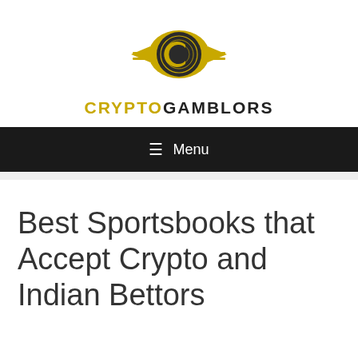[Figure (logo): CryptoGamblors logo: a dark circular emblem with a stylized 'C' inside, surrounded by a gold oval/lens shape with decorative side wings]
CRYPTOGAMBLORS
≡ Menu
Best Sportsbooks that Accept Crypto and Indian Bettors